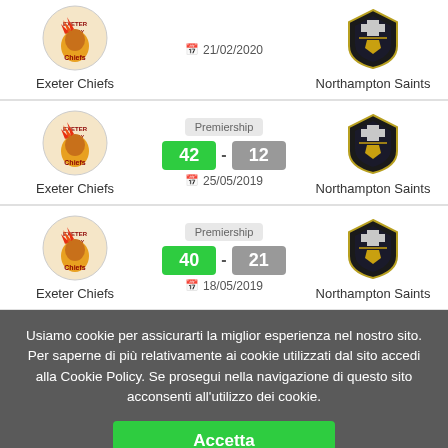Exeter Chiefs — 21/02/2020 — Northampton Saints (partial top row)
Premiership | 42 - 12 | 25/05/2019 | Exeter Chiefs vs Northampton Saints
Premiership | 40 - 21 | 18/05/2019 | Exeter Chiefs vs Northampton Saints
Usiamo cookie per assicurarti la miglior esperienza nel nostro sito. Per saperne di più relativamente ai cookie utilizzati dal sito accedi alla Cookie Policy. Se prosegui nella navigazione di questo sito acconsenti all'utilizzo dei cookie.
Accetta
leggi la Cookie Policy